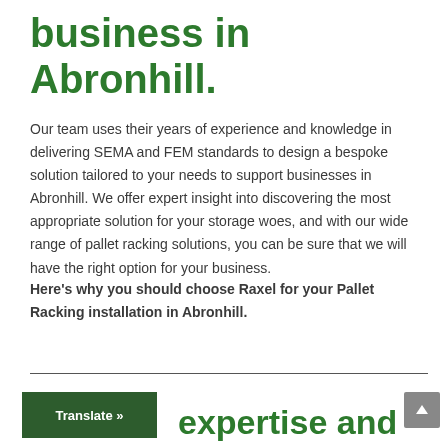business in Abronhill.
Our team uses their years of experience and knowledge in delivering SEMA and FEM standards to design a bespoke solution tailored to your needs to support businesses in Abronhill. We offer expert insight into discovering the most appropriate solution for your storage woes, and with our wide range of pallet racking solutions, you can be sure that we will have the right option for your business.
Here’s why you should choose Raxel for your Pallet Racking installation in Abronhill.
expertise and value